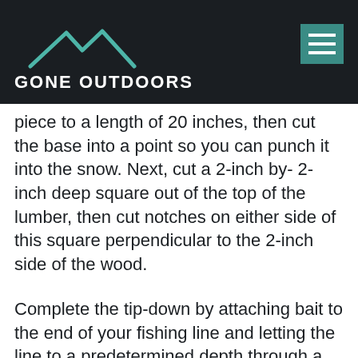[Figure (logo): Gone Outdoors logo with mountain peak icon on dark background, and hamburger menu icon]
piece to a length of 20 inches, then cut the base into a point so you can punch it into the snow. Next, cut a 2-inch by- 2-inch deep square out of the top of the lumber, then cut notches on either side of this square perpendicular to the 2-inch side of the wood.
Complete the tip-down by attaching bait to the end of your fishing line and letting the line to a predetermined depth through a hole in the ice. Push the base of the tip-down into the snow approximately 10 inches from the edge of the hole. Hammer two finishing nails 8 inches from